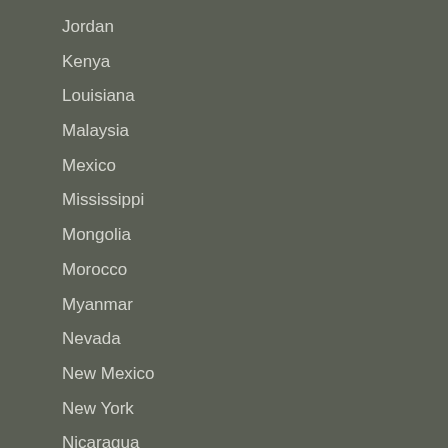Jordan
Kenya
Louisiana
Malaysia
Mexico
Mississippi
Mongolia
Morocco
Myanmar
Nevada
New Mexico
New York
Nicaragua